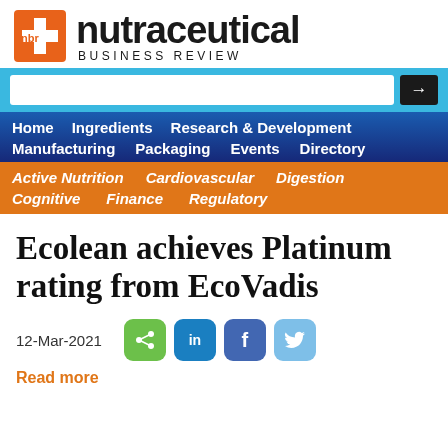[Figure (logo): NBR Nutraceutical Business Review logo with orange cross/plus icon and bold black text]
[Figure (screenshot): Website navigation bar with search box, main nav links (Home, Ingredients, Research & Development, Manufacturing, Packaging, Events, Directory) on dark blue background, and sub-nav links (Active Nutrition, Cardiovascular, Digestion, Cognitive, Finance, Regulatory) on orange background]
Ecolean achieves Platinum rating from EcoVadis
12-Mar-2021
Read more